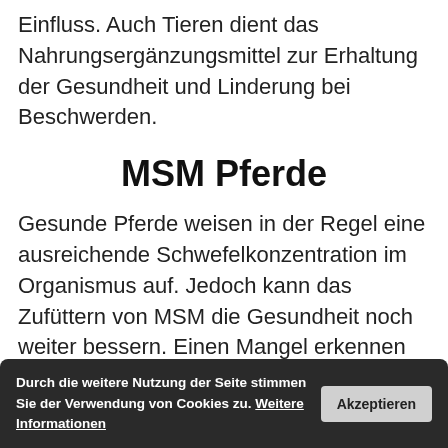Einfluss. Auch Tieren dient das Nahrungsergänzungsmittel zur Erhaltung der Gesundheit und Linderung bei Beschwerden.
MSM Pferde
Gesunde Pferde weisen in der Regel eine ausreichende Schwefelkonzentration im Organismus auf. Jedoch kann das Zufüttern von MSM die Gesundheit noch weiter bessern. Einen Mangel erkennen Pferdehalter anhand eines Bluttests.
Vor allem bei folgenden Beschwerden raten Experten zu einer zusätzlichen Gabe des konzentrierten Schwefels.
Durch die weitere Nutzung der Seite stimmen Sie der Verwendung von Cookies zu. Weitere Informationen